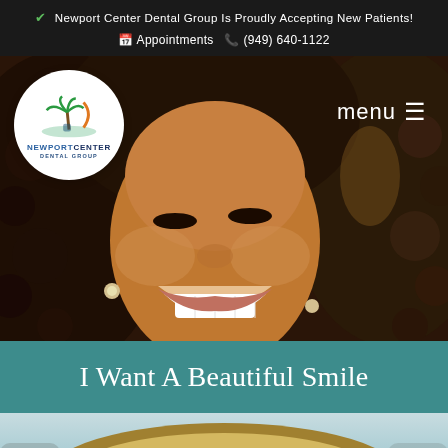✔ Newport Center Dental Group Is Proudly Accepting New Patients! 📅 Appointments 📞 (949) 640-1122
[Figure (photo): Hero image of a young woman with curly hair and a bright white smile, close-up portrait. Newport Center Dental Group logo (white circle with palm tree graphic) in upper left. Menu button with hamburger icon in upper right.]
I Want A Beautiful Smile
[Figure (photo): Partial bottom image showing top of a blonde woman's head, blurred/cropped at bottom of page.]